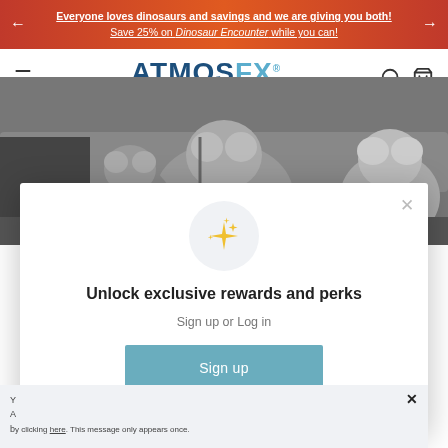Everyone loves dinosaurs and savings and we are giving you both! Save 25% on Dinosaur Encounter while you can!
[Figure (screenshot): AtmosFX website navigation bar with logo, hamburger menu, search icon, and bag icon]
[Figure (photo): Grayscale photo of stuffed animals/teddy bears on a couch]
[Figure (infographic): Modal popup with sparkle icon, heading 'Unlock exclusive rewards and perks', sign up or log in prompt, Sign up button, and sign in link]
Unlock exclusive rewards and perks
Sign up or Log in
Sign up
Already have an account? Sign in